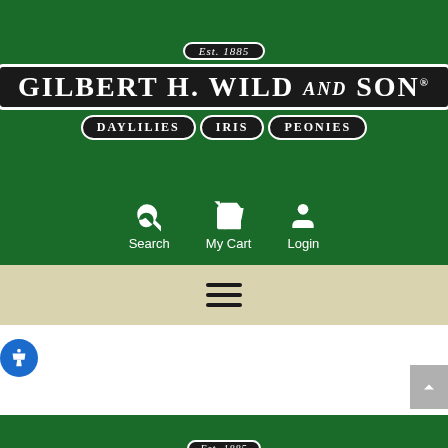[Figure (logo): Gilbert H. Wild and Son logo with Est. 1885 badge and Daylilies, Iris, Peonies sub-badges on dark background, displayed in green header]
[Figure (screenshot): Navigation icons: Search, My Cart, Login with white icons on green background]
[Figure (screenshot): Hamburger menu icon on tan/beige bar]
[Figure (screenshot): Accessibility button (blue circle with person icon) and scroll-to-top button (grey)]
[Figure (logo): Gilbert H. Wild and Son logo repeated in green footer with Est. 1885 badge and Daylilies, Iris, Peonies sub-badges]